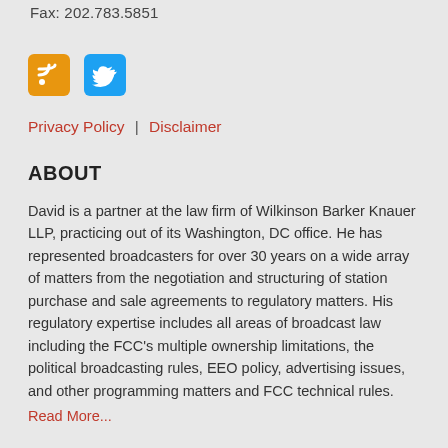Fax: 202.783.5851
[Figure (logo): RSS feed icon (orange square with RSS symbol) and Twitter icon (blue square with bird symbol)]
Privacy Policy | Disclaimer
ABOUT
David is a partner at the law firm of Wilkinson Barker Knauer LLP, practicing out of its Washington, DC office. He has represented broadcasters for over 30 years on a wide array of matters from the negotiation and structuring of station purchase and sale agreements to regulatory matters. His regulatory expertise includes all areas of broadcast law including the FCC's multiple ownership limitations, the political broadcasting rules, EEO policy, advertising issues, and other programming matters and FCC technical rules.
Read More...